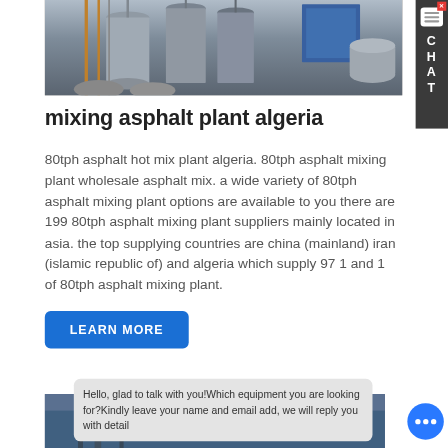[Figure (photo): Industrial asphalt mixing plant with silos, metal structures, and industrial equipment photographed from ground level]
[Figure (screenshot): Chat sidebar with CHAT label and message icon on dark grey background]
mixing asphalt plant algeria
80tph asphalt hot mix plant algeria. 80tph asphalt mixing plant wholesale asphalt mix. a wide variety of 80tph asphalt mixing plant options are available to you there are 199 80tph asphalt mixing plant suppliers mainly located in asia. the top supplying countries are china (mainland) iran (islamic republic of) and algeria which supply 97 1 and 1 of 80tph asphalt mixing plant.
[Figure (screenshot): Blue LEARN MORE button]
[Figure (photo): Partial view of industrial plant at bottom of page]
Hello, glad to talk with you!Which equipment you are looking for?Kindly leave your name and email add, we will reply you with detail